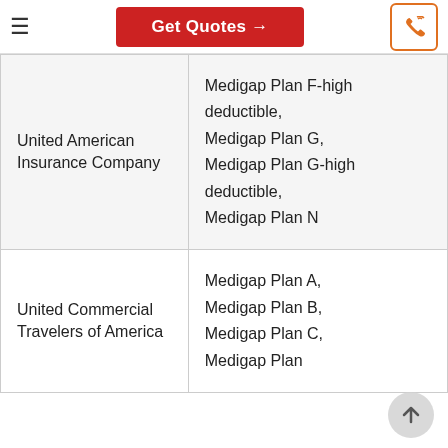Get Quotes →
| Company | Plans |
| --- | --- |
| United American Insurance Company | Medigap Plan F-high deductible, Medigap Plan G, Medigap Plan G-high deductible, Medigap Plan N |
| United Commercial Travelers of America | Medigap Plan A, Medigap Plan B, Medigap Plan C, Medigap Plan ... |